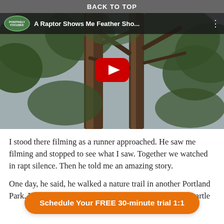BACK TO TOP
[Figure (screenshot): YouTube video thumbnail showing tall trees photographed from below, with a red YouTube play button overlay. Video title reads 'A Raptor Shows Me Feather Sho...' with a green Positively Focused channel logo.]
I stood there filming as a runner approached. He saw me filming and stopped to see what I saw. Together we watched in rapt silence. Then he told me an amazing story.
One day, he said, he walked a nature trail in another Portland Park. While walking he felt his hat taken off his head. Startle... felt something...
Schedule Your FREE 30-minute trial 1:1